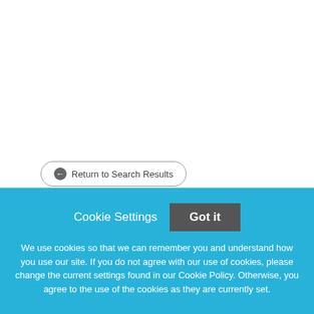← Return to Search Results
Panel Replacement Services, King County-Generous Signing Bonus Offered
Cookie Settings
Got it
We use cookies so that we can remember you and understand how you use our site. If you do not agree with our use of cookies, please change the current settings found in our Cookie Policy. Otherwise, you agree to the use of the cookies as they are currently set.